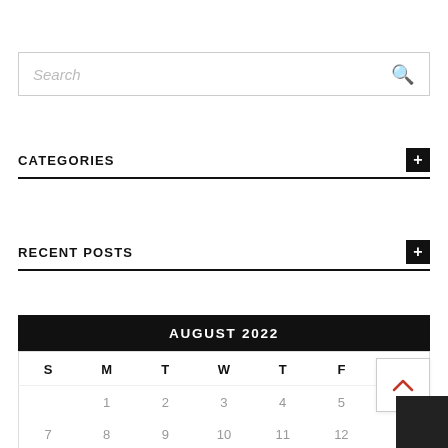Search
CATEGORIES
RECENT POSTS
| S | M | T | W | T | F | S |
| --- | --- | --- | --- | --- | --- | --- |
|  | 1 | 2 | 3 | 4 | 5 |  |
| 7 | 8 | 9 | 10 | 11 | 12 |  |